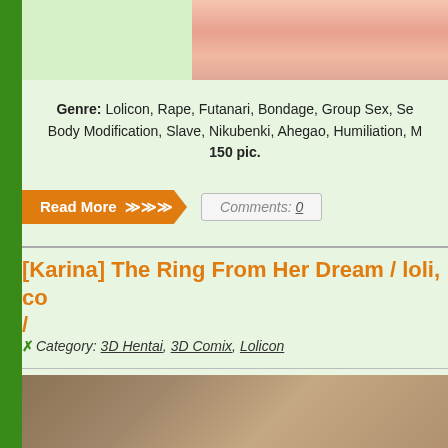[Figure (illustration): Partial anime/hentai illustration at top of page, cropped]
Genre: Lolicon, Rape, Futanari, Bondage, Group Sex, Se... Body Modification, Slave, Nikubenki, Ahegao, Humiliation, ... 150 pic.
Read More >>> Comments: 0
[Karina] The Ring From Her Dream / loli, co... /
Category: 3D Hentai, 3D Comix, Lolicon
[Figure (illustration): 3D rendered image showing two characters near stairs, partial view]